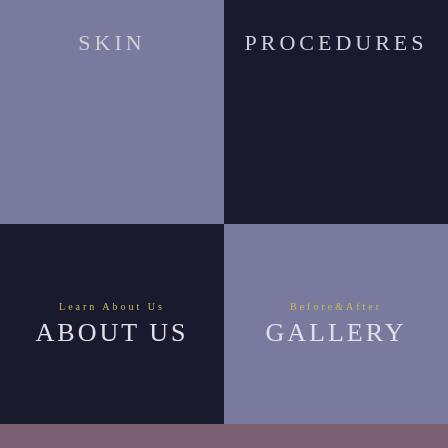SKIN
PROCEDURES
Learn About Us
ABOUT US
Before&After
GALLERY